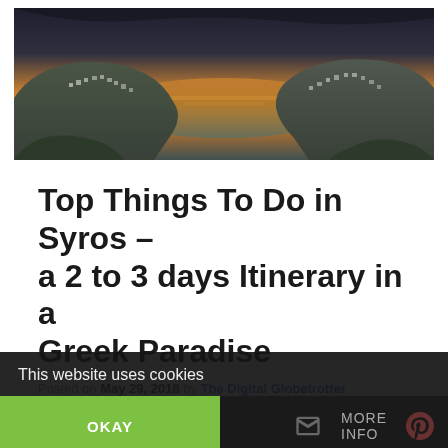[Figure (photo): Panoramic aerial view of a Greek island bay at sunset, with whitewashed buildings on hillsides and golden light reflecting on calm water between two hills, under a dramatic stormy sky.]
Top Things To Do in Syros – a 2 to 3 days Itinerary in a Greek Paradise
Posted on May 29, 2018 by The Digital Globetrotter
This year in Greece I wanted to try something different, a bit off the beaten track so I chose
This website uses cookies
OKAY
MORE INFO